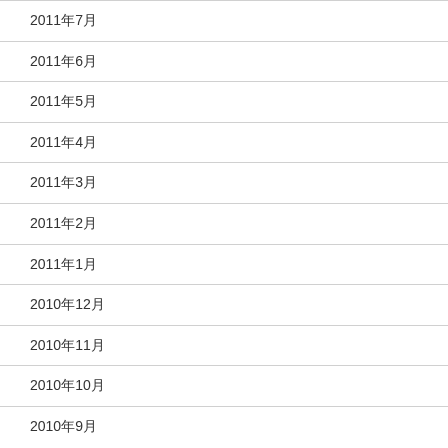2011年7月
2011年6月
2011年5月
2011年4月
2011年3月
2011年2月
2011年1月
2010年12月
2010年11月
2010年10月
2010年9月